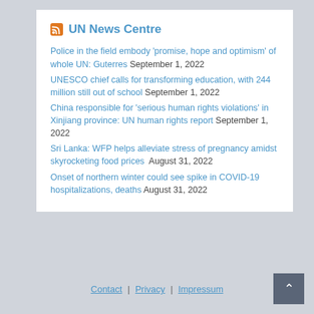UN News Centre
Police in the field embody ‘promise, hope and optimism’ of whole UN: Guterres September 1, 2022
UNESCO chief calls for transforming education, with 244 million still out of school September 1, 2022
China responsible for ‘serious human rights violations’ in Xinjiang province: UN human rights report September 1, 2022
Sri Lanka: WFP helps alleviate stress of pregnancy amidst skyrocketing food prices  August 31, 2022
Onset of northern winter could see spike in COVID-19 hospitalizations, deaths August 31, 2022
Contact | Privacy | Impressum